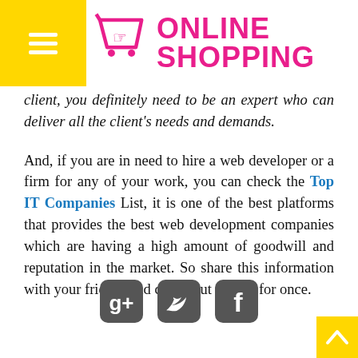ONLINE SHOPPING
client, you definitely need to be an expert who can deliver all the client's needs and demands.
And, if you are in need to hire a web developer or a firm for any of your work, you can check the Top IT Companies List, it is one of the best platforms that provides the best web development companies which are having a high amount of goodwill and reputation in the market. So share this information with your friends and check out the list for once.
[Figure (logo): Social media icons: Google+, Twitter, Facebook]